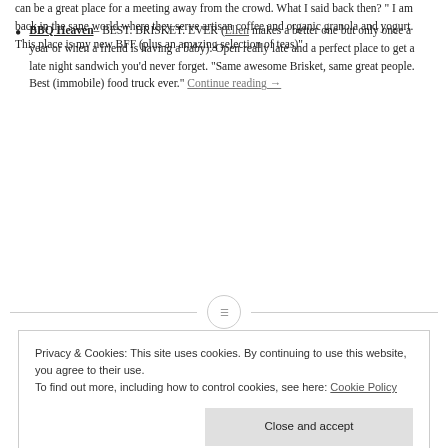can be a great place for a meeting away from the crowd. What I said back then? " I am back in the sane world where they serve artisan coffee and organic granola and yogurt. This place is my new BFF (plus an amazing selection of teas)"
BBQ Heaven– BEST. BRISKET. EVER (Ellen makes a better one but only once a year or when a friend is having a baby). Open really late and a perfect place to get a late night sandwich you'd never forget. "Same awesome Brisket, same great people. Best (immobile) food truck ever." Continue reading →
Privacy & Cookies: This site uses cookies. By continuing to use this website, you agree to their use. To find out more, including how to control cookies, see here: Cookie Policy
Close and accept